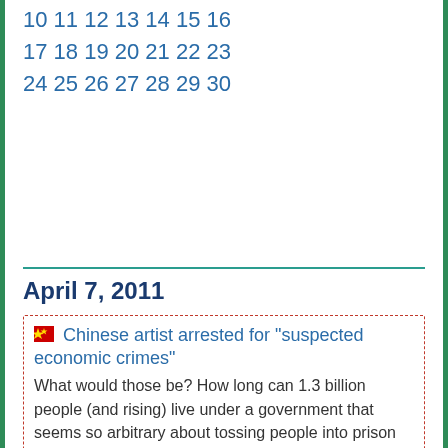10 11 12 13 14 15 16
17 18 19 20 21 22 23
24 25 26 27 28 29 30
April 7, 2011
Chinese artist arrested for "suspected economic crimes"
What would those be? How long can 1.3 billion people (and rising) live under a government that seems so arbitrary about tossing people into prison without due cause?
Do Iowa City and Cedar Rapids belong in different Congressional districts?
That's what's proposed by a new redistricting map, but it has to go through quite a bit of review before it can be